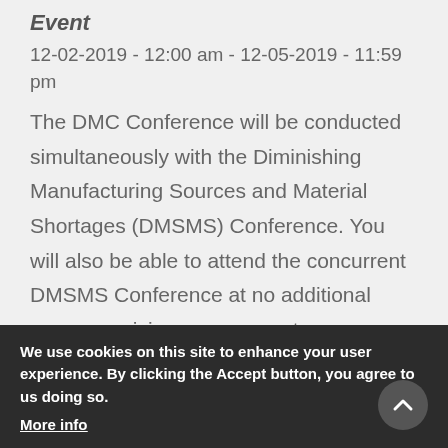Event
12-02-2019 - 12:00 am - 12-05-2019 - 11:59 pm
The DMC Conference will be conducted simultaneously with the Diminishing Manufacturing Sources and Material Shortages (DMSMS) Conference. You will also be able to attend the concurrent DMSMS Conference at no additional expense, giving you access to
SURVICE Sponsors SAME Chesapeake Post STEM Event
Event
12-02-2019 - 12:00 am
We use cookies on this site to enhance your user experience. By clicking the Accept button, you agree to us doing so.
More info